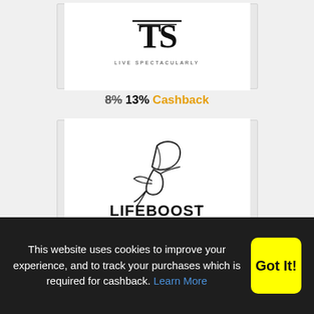[Figure (logo): TS logo with text LIVE SPECTACULARLY and cashback offer]
8% 13% Cashback
[Figure (logo): LIFEBOOST coffee logo with hummingbird illustration]
5% 10% Cashback
This website uses cookies to improve your experience, and to track your purchases which is required for cashback. Learn More